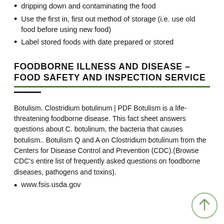dripping down and contaminating the food
Use the first in, first out method of storage (i.e. use old food before using new food)
Label stored foods with date prepared or stored
FOODBORNE ILLNESS AND DISEASE – FOOD SAFETY AND INSPECTION SERVICE
Botulism. Clostridium botulinum | PDF Botulism is a life-threatening foodborne disease. This fact sheet answers questions about C. botulinum, the bacteria that causes botulism.. Botulism Q and A on Clostridium botulinum from the Centers for Disease Control and Prevention (CDC).(Browse CDC's entire list of frequently asked questions on foodborne diseases, pathogens and toxins).
www.fsis.usda.gov